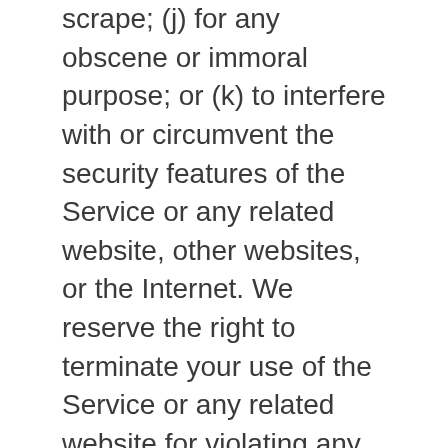scrape; (j) for any obscene or immoral purpose; or (k) to interfere with or circumvent the security features of the Service or any related website, other websites, or the Internet. We reserve the right to terminate your use of the Service or any related website for violating any of the prohibited uses.
Indemnification
You agree to indemnify, defend and hold harmless Heartfirebooks and our parent, subsidiaries, affiliates, partners, officers, directors, agents, contractors, licensors, service providers, subcontractors, suppliers,